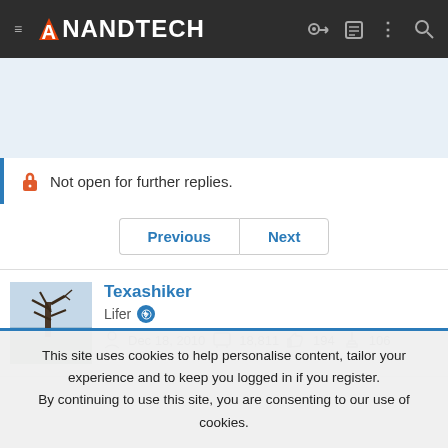AnandTech
Not open for further replies.
Previous  Next
Texashiker
Lifer
Dec 18, 2010  18,811  194  106
This site uses cookies to help personalise content, tailor your experience and to keep you logged in if you register. By continuing to use this site, you are consenting to our use of cookies.